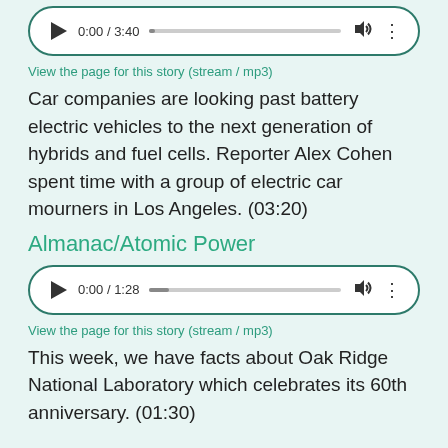[Figure (screenshot): Audio player showing 0:00 / 3:40 with progress bar, volume and more icons]
View the page for this story (stream / mp3)
Car companies are looking past battery electric vehicles to the next generation of hybrids and fuel cells. Reporter Alex Cohen spent time with a group of electric car mourners in Los Angeles. (03:20)
Almanac/Atomic Power
[Figure (screenshot): Audio player showing 0:00 / 1:28 with progress bar, volume and more icons]
View the page for this story (stream / mp3)
This week, we have facts about Oak Ridge National Laboratory which celebrates its 60th anniversary. (01:30)